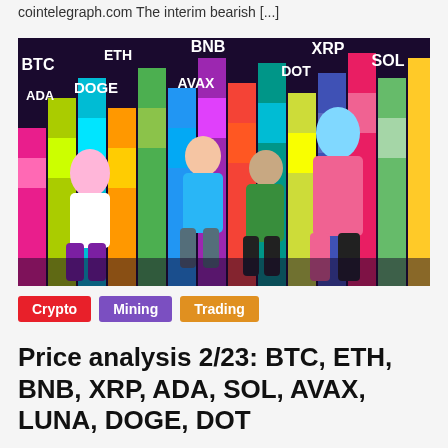cointelegraph.com The interim bearish [...]
[Figure (illustration): Colorful cartoon illustration of dancing characters with cryptocurrency ticker labels in the background: BTC, ETH, BNB, XRP, ADA, DOGE, AVAX, DOT, SOL. Characters are in front of a colorful bar chart backdrop resembling a crypto equalizer with rainbow bars.]
Crypto   Mining   Trading
Price analysis 2/23: BTC, ETH, BNB, XRP, ADA, SOL, AVAX, LUNA, DOGE, DOT